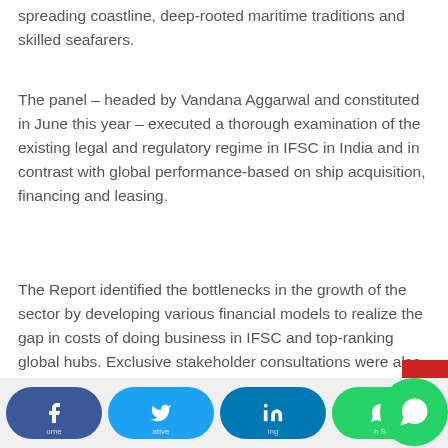spreading coastline, deep-rooted maritime traditions and skilled seafarers.
The panel – headed by Vandana Aggarwal and constituted in June this year – executed a thorough examination of the existing legal and regulatory regime in IFSC in India and in contrast with global performance-based on ship acquisition, financing and leasing.
The Report identified the bottlenecks in the growth of the sector by developing various financial models to realize the gap in costs of doing business in IFSC and top-ranking global hubs. Exclusive stakeholder consultations were also conducted, emphasizing changes required for seeding a stark Ship Acquisition, Financing And Leasing (SAFAL) regime in India. The